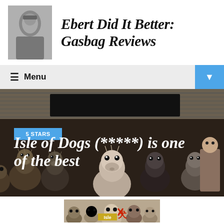Ebert Did It Better: Gasbag Reviews
≡ Menu
[Figure (photo): Hero banner image of stop-motion animated dogs from Isle of Dogs film, dark background, with blue '5 STARS' badge and title overlay 'Isle of Dogs (*****) is one of the best']
Isle of Dogs (*****) is one of the best
[Figure (photo): Movie poster/image for Isle of Dogs showing animated dogs crowd with Isle of Dogs logo and Japanese character 犬 (dog) with red X marks]